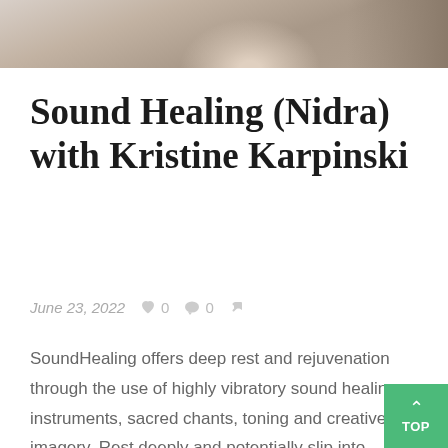[Figure (photo): Partial photo at top of page showing a person lying down, cropped to show upper portion only]
Sound Healing (Nidra) with Kristine Karpinski
June 23, 2022  ♥ 0  💬 0  🏷
SoundHealing offers deep rest and rejuvenation through the use of highly vibratory sound healing instruments, sacred chants, toning and creative imagery. Rest deeply and potentially slip into consciousness dream states, while immersing yourself...